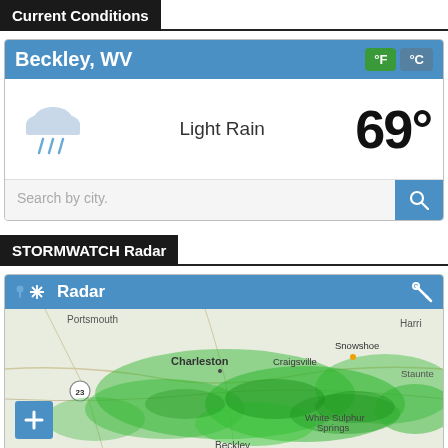Current Conditions
[Figure (screenshot): Weather app card showing Beckley, WV with Light Rain condition and temperature 69°. Includes °F/°C toggle buttons, a rain cloud icon, and a Search by city input bar with search button.]
STORMWATCH Radar
[Figure (map): Radar map showing WV region with green precipitation overlay. Cities visible: Portsmouth, Charleston, Craigsville, Snowshoe, Harri(sonburg), Staunte(on), White Sulphur Springs, Beckley. Zoom controls visible on lower left.]